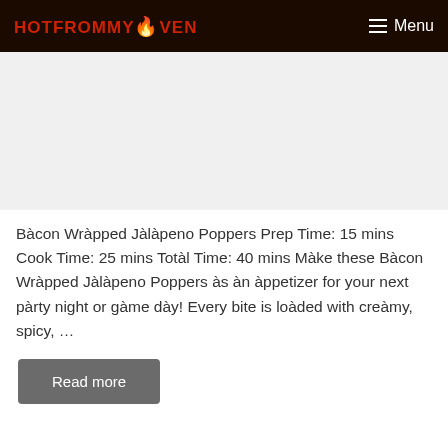HotFromMyOven  Menu
Bacon Wrapped Jalàpeno Poppers Prep Time: 15 mins Cook Time: 25 mins Total Time: 40 mins Make these Bacon Wrapped Jalàpeno Poppers as an appetizer for your next party night or game day!  Every bite is loaded with creamy, spicy, ...
Read more